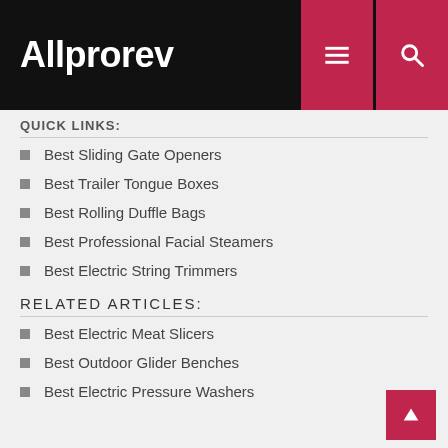Allprorev
QUICK LINKS:
Best Sliding Gate Openers
Best Trailer Tongue Boxes
Best Rolling Duffle Bags
Best Professional Facial Steamers
Best Electric String Trimmers
RELATED ARTICLES:
Best Electric Meat Slicers
Best Outdoor Glider Benches
Best Electric Pressure Washers